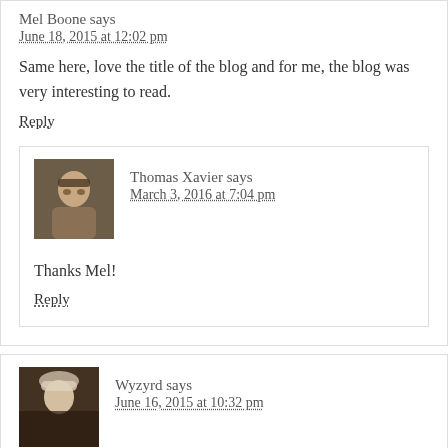Mel Boone says
June 18, 2015 at 12:02 pm
Same here, love the title of the blog and for me, the blog was very interesting to read.
Reply
[Figure (photo): Profile avatar photo of Thomas Xavier - person wearing glasses]
Thomas Xavier says
March 3, 2016 at 7:04 pm
Thanks Mel!
Reply
[Figure (photo): Profile avatar photo of Wyzyrd - person with light hair]
Wyzyrd says
June 16, 2015 at 10:32 pm